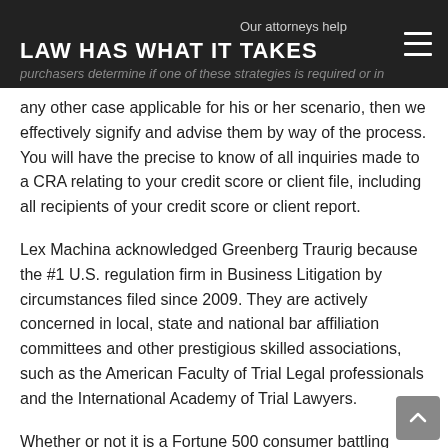LAW HAS WHAT IT TAKES
Our attorneys help purchasers determine if one of these strategies is required or in any other case applicable for his or her scenario, then we effectively signify and advise them by way of the process. You will have the precise to know of all inquiries made to a CRA relating to your credit score or client file, including all recipients of your credit score or client report.
Lex Machina acknowledged Greenberg Traurig because the #1 U.S. regulation firm in Business Litigation by circumstances filed since 2009. They are actively concerned in local, state and national bar affiliation committees and other prestigious skilled associations, such as the American Faculty of Trial Legal professionals and the International Academy of Trial Lawyers.
Whether or not it is a Fortune 500 consumer battling wager-the-company litigation or a begin-up attempting to resolve a contract dispute, we may help. Whether the litigation requires a single lawyer or a crew of 20, we're trial-prepared lawyers,